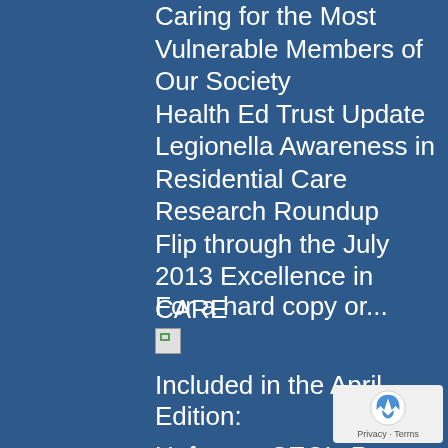Caring for the Most Vulnerable Members of Our Society
Health Ed Trust Update
Legionella Awareness in Residential Care
Research Roundup
Flip through the July 2013 Excellence in CARE
For a hard copy or...
[Figure (other): Broken image placeholder icon]
Included in the April Edition:
Upfront – CEO's Report
Words from the Wise
Conference 2013